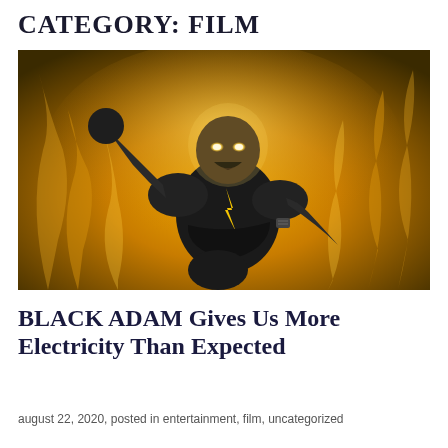CATEGORY: FILM
[Figure (photo): Illustration of Black Adam character (resembling Dwayne Johnson) in black costume with yellow lightning bolt, glowing eyes, roaring and leaping against a fiery golden background]
BLACK ADAM Gives Us More Electricity Than Expected
august 22, 2020, posted in entertainment, film, uncategorized